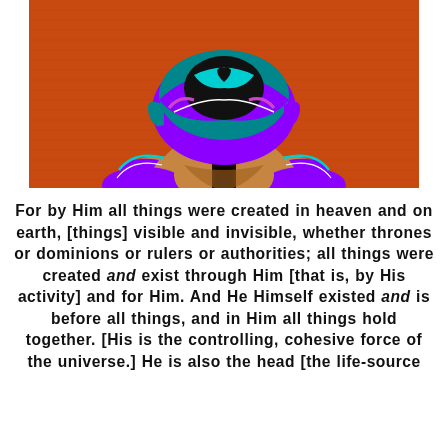[Figure (photo): Woman seen from behind wearing a colorful African print headwrap in purple, teal, and black, and a matching top, against an orange textured background. Her long dark hair falls down her back.]
For by Him all things were created in heaven and on earth, [things] visible and invisible, whether thrones or dominions or rulers or authorities; all things were created and exist through Him [that is, by His activity] and for Him. And He Himself existed and is before all things, and in Him all things hold together. [His is the controlling, cohesive force of the universe.] He is also the head [the life-source